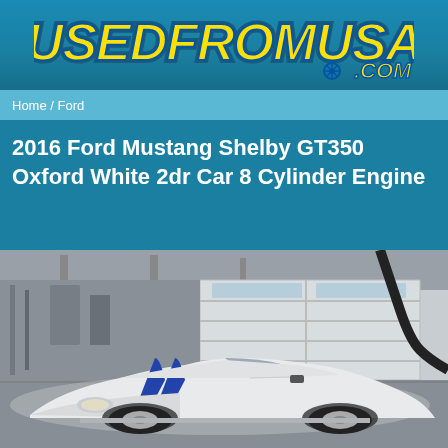[Figure (logo): USEDFROMUSA.COM logo in yellow italic bold text with blue outline on teal banner background]
Home / Ford
2016 Ford Mustang Shelby GT350 Oxford White 2dr Car 8 Cylinder Engine
[Figure (photo): White 2016 Ford Mustang Shelby GT350 with blue racing stripes parked in a garage/industrial building setting, front three-quarter view]